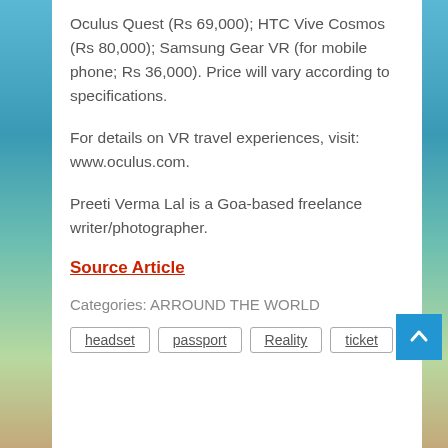Oculus Quest (Rs 69,000); HTC Vive Cosmos (Rs 80,000); Samsung Gear VR (for mobile phone; Rs 36,000). Price will vary according to specifications.
For details on VR travel experiences, visit: www.oculus.com.
Preeti Verma Lal is a Goa-based freelance writer/photographer.
Source Article
Categories: ARROUND THE WORLD
headset | passport | Reality | ticket